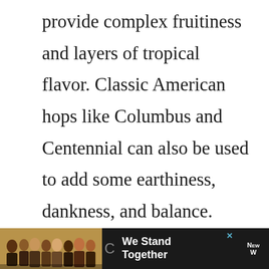provide complex fruitiness and layers of tropical flavor. Classic American hops like Columbus and Centennial can also be used to add some earthiness, dankness, and balance.

Australian hops like Galaxy, Ella, and Vic Secret are used for their juice-like
[Figure (photo): Advertisement banner at bottom of page showing people with arms around each other, with text 'We Stand Together' and an ABC News logo on the right, with a close (x) button]